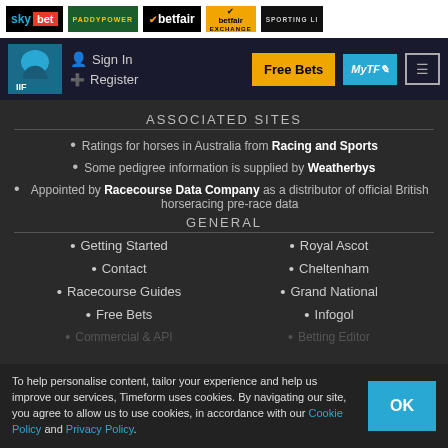[Figure (screenshot): Top sponsor bar with logos: Sky Bet, PaddyPower, Betfair, Betfair Exchange, Sporting Life]
[Figure (screenshot): Navigation bar with Timeform horse logo, Sign In, Register links, Free Bets button, MyTF button, menu button]
ASSOCIATED SITES
Ratings for horses in Australia from Racing and Sports
Some pedigree information is supplied by Weatherbys
Appointed by Racecourse Data Company as a distributor of official British horseracing pre-race data
GENERAL
Getting Started
Royal Ascot
Contact
Cheltenham
Racecourse Guides
Grand National
Free Bets
Infogol
Commercial & API
Betting Editor
To help personalise content, tailor your experience and help us improve our services, Timeform uses cookies. By navigating our site, you agree to allow us to use cookies, in accordance with our Cookie Policy and Privacy Policy.